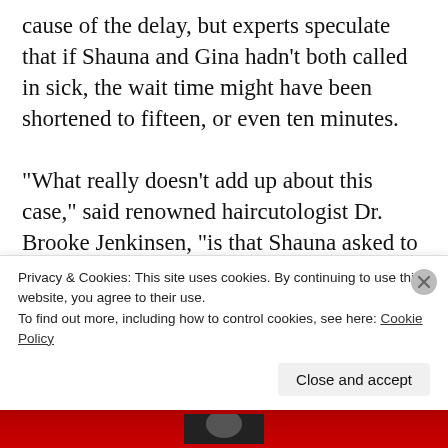cause of the delay, but experts speculate that if Shauna and Gina hadn't both called in sick, the wait time might have been shortened to fifteen, or even ten minutes.

"What really doesn't add up about this case," said renowned haircutologist Dr. Brooke Jenkinsen, "is that Shauna asked to take yesterday off two weeks ago and was denied. And Gina has been flakey ever since she learned that her husband died in Afghanistan. This is going to be a pretty lengthy investigation."
Privacy & Cookies: This site uses cookies. By continuing to use this website, you agree to their use.
To find out more, including how to control cookies, see here: Cookie Policy
Close and accept